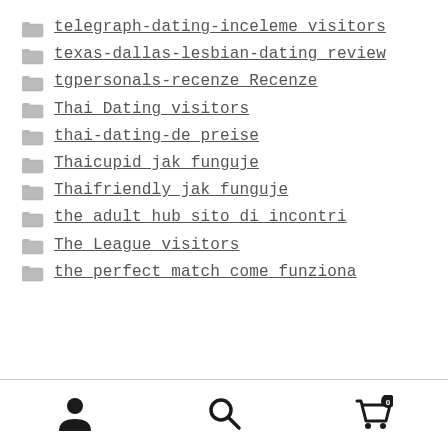telegraph-dating-inceleme visitors
texas-dallas-lesbian-dating review
tgpersonals-recenze Recenze
Thai Dating visitors
thai-dating-de preise
Thaicupid jak funguje
Thaifriendly jak funguje
the adult hub sito di incontri
The League visitors
the perfect match come funziona
Navigation footer with user, search, and cart icons